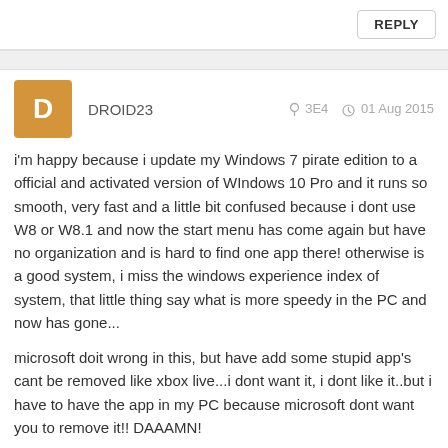REPLY
DROID23   3E4   01 Aug 2015
i'm happy because i update my Windows 7 pirate edition to a official and activated version of WIndows 10 Pro and it runs so smooth, very fast and a little bit confused because i dont use W8 or W8.1 and now the start menu has come again but have no organization and is hard to find one app there! otherwise is a good system, i miss the windows experience index of system, that little thing say what is more speedy in the PC and now has gone...
microsoft doit wrong in this, but have add some stupid app's cant be removed like xbox live...i dont want it, i dont like it..but i have to have the app in my PC because microsoft dont want you to remove it!! DAAAMN!
REPLY